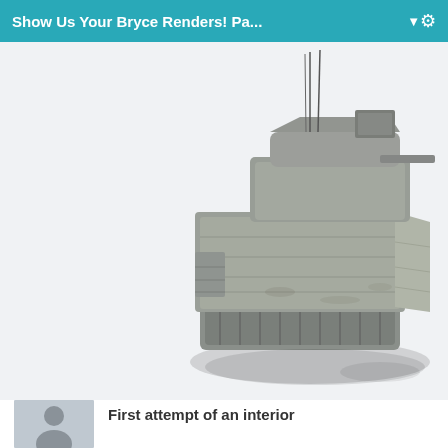Show Us Your Bryce Renders! Pa...
[Figure (photo): 3D render of a military Bradley Fighting Vehicle (armored personnel carrier with tank tracks and turret) on a white/light gray background, viewed from front-right angle. The vehicle is detailed with realistic textures, antenna wires, and casts a shadow.]
[Figure (photo): Thumbnail avatar image in bottom strip showing a person silhouette]
First attempt of an interior